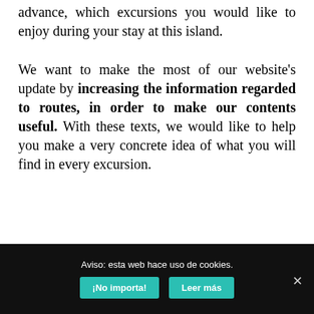advance, which excursions you would like to enjoy during your stay at this island.
We want to make the most of our website's update by increasing the information regarded to routes, in order to make our contents useful. With these texts, we would like to help you make a very concrete idea of what you will find in every excursion.
Aviso: esta web hace uso de cookies.
¡No importa!
Leer más